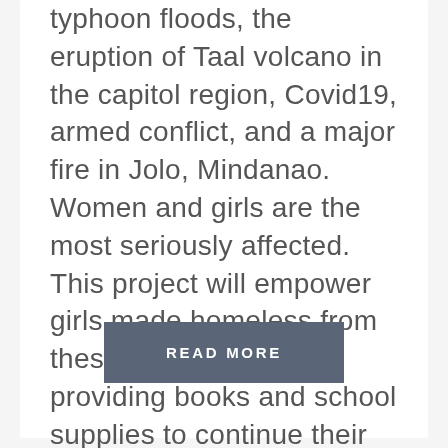typhoon floods, the eruption of Taal volcano in the capitol region, Covid19, armed conflict, and a major fire in Jolo, Mindanao. Women and girls are the most seriously affected. This project will empower girls made homeless from these disasters by providing books and school supplies to continue their education and hygiene supplies for wellness programs.
READ MORE